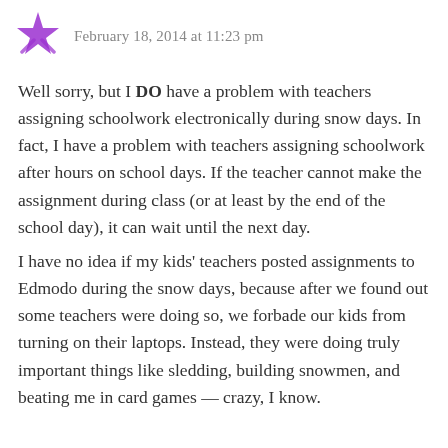February 18, 2014 at 11:23 pm
Well sorry, but I DO have a problem with teachers assigning schoolwork electronically during snow days. In fact, I have a problem with teachers assigning schoolwork after hours on school days. If the teacher cannot make the assignment during class (or at least by the end of the school day), it can wait until the next day.
I have no idea if my kids' teachers posted assignments to Edmodo during the snow days, because after we found out some teachers were doing so, we forbade our kids from turning on their laptops. Instead, they were doing truly important things like sledding, building snowmen, and beating me in card games — crazy, I know.